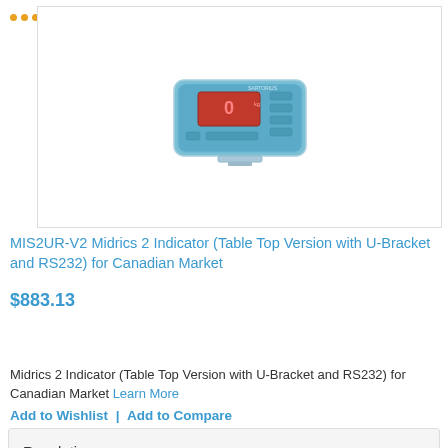mechatronics
[Figure (photo): MIS2UR-V2 Midrics 2 Indicator device - a blue/grey rectangular weighing indicator unit with red LED display showing 0, and multiple buttons on front panel]
MIS2UR-V2 Midrics 2 Indicator (Table Top Version with U-Bracket and RS232) for Canadian Market
$883.13
Add to Cart
Midrics 2 Indicator (Table Top Version with U-Bracket and RS232) for Canadian Market Learn More
Add to Wishlist | Add to Compare
Resolution